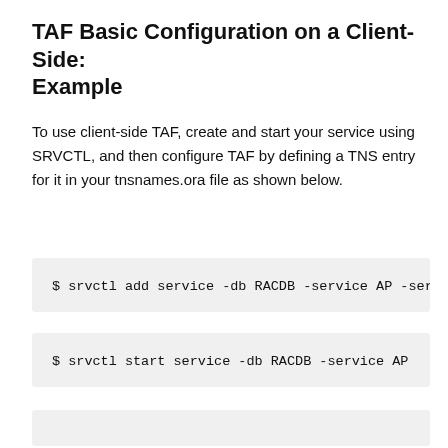TAF Basic Configuration on a Client-Side: Example
To use client-side TAF, create and start your service using SRVCTL, and then configure TAF by defining a TNS entry for it in your tnsnames.ora file as shown below.
$ srvctl add service -db RACDB -service AP -ser
$ srvctl start service -db RACDB -service AP